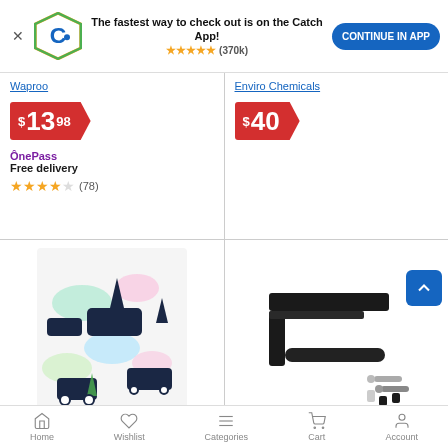[Figure (screenshot): App banner with Catch logo, text 'The fastest way to check out is on the Catch App!', 5 gold stars, (370k) reviews, and blue 'CONTINUE IN APP' button]
Waproo
$13.98
OnePass Free delivery
★★★★☆ (78)
Enviro Chemicals
$40
[Figure (photo): Colorful caravans and camping themed fabric/sponge cloth with pastel illustrations]
[Figure (photo): Black metal toilet paper holder with shelf, shown with mounting hardware (screws and anchors)]
Home  Wishlist  Categories  Cart  Account